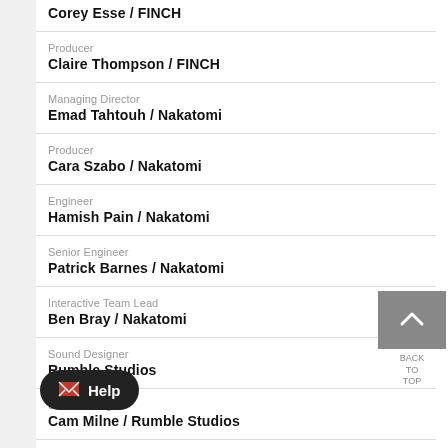Corey Esse / FINCH
Producer
Claire Thompson / FINCH
Managing Director
Emad Tahtouh / Nakatomi
Producer
Cara Szabo / Nakatomi
Engineer
Hamish Pain / Nakatomi
Senior Engineer
Patrick Barnes / Nakatomi
Interactive Team Lead
Ben Bray / Nakatomi
Sound Designer
[...] Rumble Studios
Sound Designer
Cam Milne / Rumble Studios